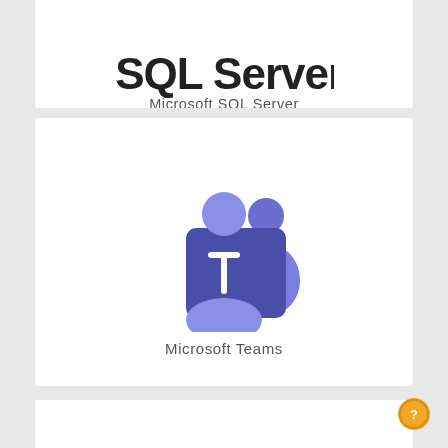[Figure (logo): Microsoft SQL Server logo — partial view showing SQL Server text logo on white card]
Microsoft SQL Server
[Figure (logo): Microsoft Teams logo — purple T icon with person silhouette figures on white card]
Microsoft Teams